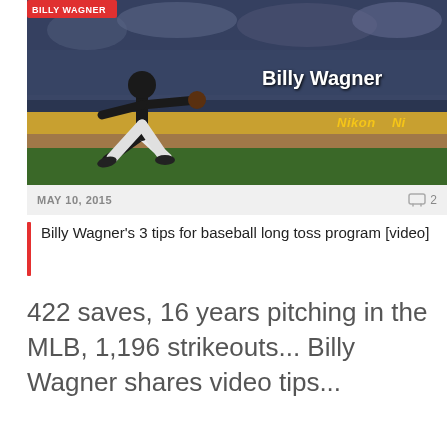[Figure (photo): Billy Wagner pitching at a baseball stadium at night, crowd in background, yellow outfield advertising wall with Nikon branding, green field]
MAY 10, 2015
2
Billy Wagner's 3 tips for baseball long toss program [video]
422 saves, 16 years pitching in the MLB, 1,196 strikeouts... Billy Wagner shares video tips...